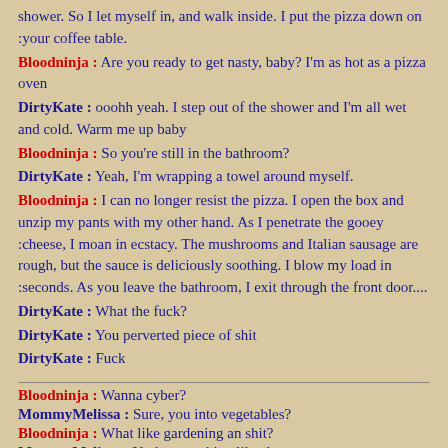shower. So I let myself in, and walk inside. I put the pizza down on :your coffee table.
Bloodninja : Are you ready to get nasty, baby? I'm as hot as a pizza oven
DirtyKate : ooohh yeah. I step out of the shower and I'm all wet and cold. Warm me up baby
Bloodninja : So you're still in the bathroom?
DirtyKate : Yeah, I'm wrapping a towel around myself.
Bloodninja : I can no longer resist the pizza. I open the box and unzip my pants with my other hand. As I penetrate the gooey :cheese, I moan in ecstacy. The mushrooms and Italian sausage are rough, but the sauce is deliciously soothing. I blow my load in :seconds. As you leave the bathroom, I exit through the front door....
DirtyKate : What the fuck?
DirtyKate : You perverted piece of shit
DirtyKate : Fuck
Bloodninja : Wanna cyber?
MommyMelissa : Sure, you into vegetables?
Bloodninja : What like gardening an shit?
MommyMelissa : Yeah, something like that